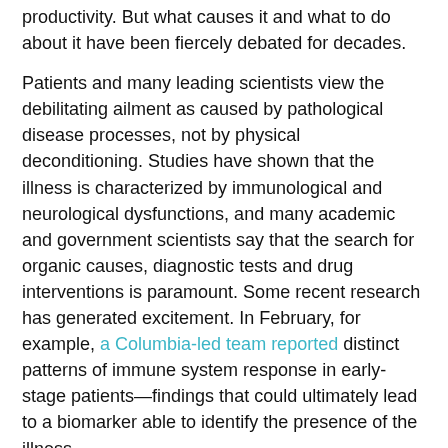productivity. But what causes it and what to do about it have been fiercely debated for decades.
Patients and many leading scientists view the debilitating ailment as caused by pathological disease processes, not by physical deconditioning. Studies have shown that the illness is characterized by immunological and neurological dysfunctions, and many academic and government scientists say that the search for organic causes, diagnostic tests and drug interventions is paramount. Some recent research has generated excitement. In February, for example, a Columbia-led team reported distinct patterns of immune system response in early-stage patients—findings that could ultimately lead to a biomarker able to identify the presence of the illness.
In contrast, the British mental health experts have focused on non-pharmacological rehabilitative therapies, aimed at improving patients' physical capacities and altering their perceptions of their condition through behavioral and psychological approaches. The PACE trial was designed to be a definitive test of two such treatments they had